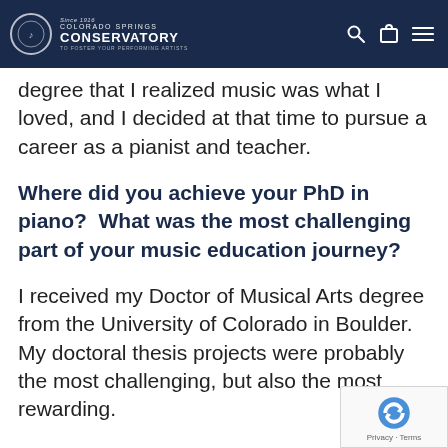Colorado Springs Conservatory — Since 1916 — To Foster Your Performing Artists
degree that I realized music was what I loved, and I decided at that time to pursue a career as a pianist and teacher.
Where did you achieve your PhD in piano?  What was the most challenging part of your music education journey?
I received my Doctor of Musical Arts degree from the University of Colorado in Boulder. My doctoral thesis projects were probably the most challenging, but also the most rewarding.